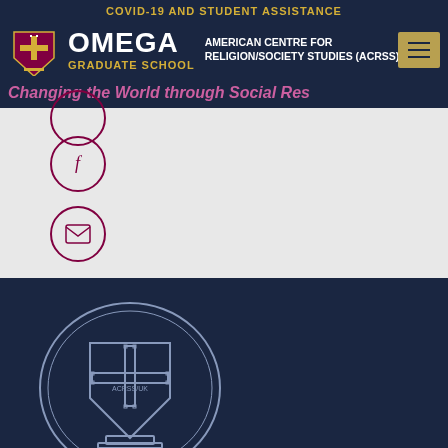COVID-19 AND STUDENT ASSISTANCE
[Figure (logo): Omega Graduate School with American Centre for Religion/Society Studies (ACRSS) logo and shield emblem]
Changing the World through Social Research
[Figure (illustration): Social media icons - Facebook (f) and email (envelope) in circular dark red borders on grey background]
[Figure (logo): ACRSS/UK shield and cross logo in light outline on dark navy background]